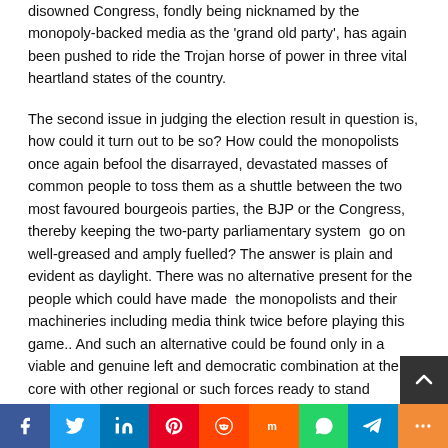disowned Congress, fondly being nicknamed by the monopoly-backed media as the 'grand old party', has again been pushed to ride the Trojan horse of power in three vital heartland states of the country.
The second issue in judging the election result in question is, how could it turn out to be so? How could the monopolists once again befool the disarrayed, devastated masses of common people to toss them as a shuttle between the two most favoured bourgeois parties, the BJP or the Congress, thereby keeping the two-party parliamentary system  go on well-greased and amply fuelled? The answer is plain and evident as daylight. There was no alternative present for the people which could have made  the monopolists and their machineries including media think twice before playing this game.. And such an alternative could be found only in a viable and genuine left and democratic combination at the core with other regional or such forces ready to stand against the ris